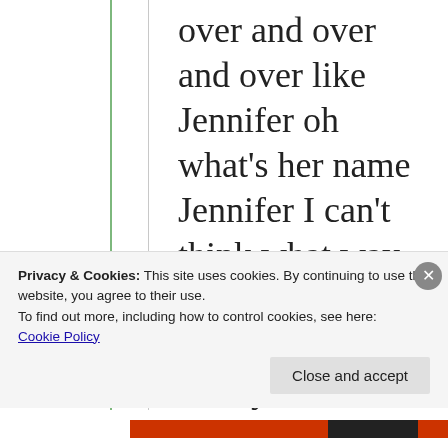over and over and over like Jennifer oh what's her name Jennifer I can't think what way something like that and every time you know she's the first one to come on with the YouTube
Privacy & Cookies: This site uses cookies. By continuing to use this website, you agree to their use.
To find out more, including how to control cookies, see here:
Cookie Policy